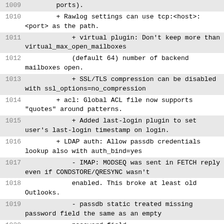| line | content |
| --- | --- |
| 1009 |         ports). |
| 1010 |         + Rawlog settings can use tcp:<host>:<port> as the path. |
| 1011 |             + virtual plugin: Don't keep more than virtual_max_open_mailboxes |
| 1012 |             (default 64) number of backend mailboxes open. |
| 1013 |             + SSL/TLS compression can be disabled with ssl_options=no_compression |
| 1014 |         + acl: Global ACL file now supports "quotes" around patterns. |
| 1015 |             + Added last-login plugin to set user's last-login timestamp on login. |
| 1016 |         + LDAP auth: Allow passdb credentials lookup also with auth_bind=yes |
| 1017 |             - IMAP: MODSEQ was sent in FETCH reply even if CONDSTORE/QRESYNC wasn't |
| 1018 |             enabled. This broke at least old Outlooks. |
| 1019 |             - passdb static treated missing password field the same as an empty |
| 1020 |             password field. |
| 1021 |             - mdbox: Fixed potential infinite looping when scanning a |